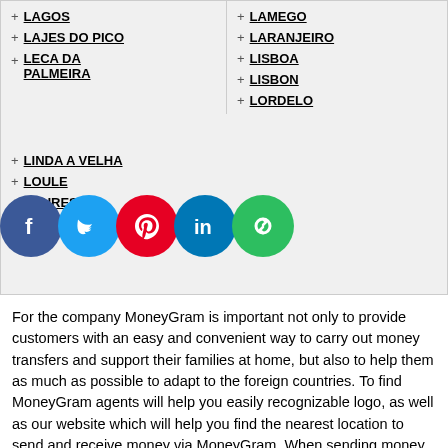LAGOS
LAJES DO PICO
LECA DA PALMEIRA
LINDA A VELHA
LOULE
LOURES
LOURINHA
LAMEGO
LARANJEIRO
LISBOA
LISBON
LORDELO
For the company MoneyGram is important not only to provide customers with an easy and convenient way to carry out money transfers and support their families at home, but also to help them as much as possible to adapt to the foreign countries. To find MoneyGram agents will help you easily recognizable logo, as well as our website which will help you find the nearest location to send and receive money via MoneyGram. When sending money, we must always remember that into the speed of money transfers almost always make